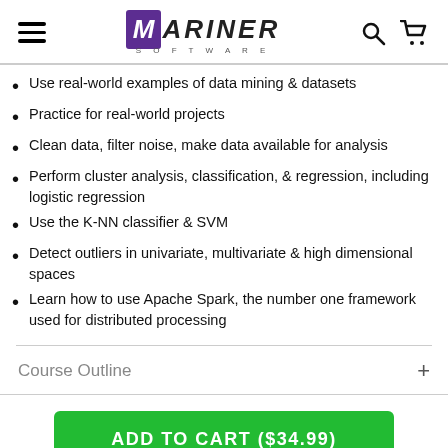MARINER SOFTWARE
Use real-world examples of data mining & datasets
Practice for real-world projects
Clean data, filter noise, make data available for analysis
Perform cluster analysis, classification, & regression, including logistic regression
Use the K-NN classifier & SVM
Detect outliers in univariate, multivariate & high dimensional spaces
Learn how to use Apache Spark, the number one framework used for distributed processing
Course Outline
ADD TO CART ($34.99)